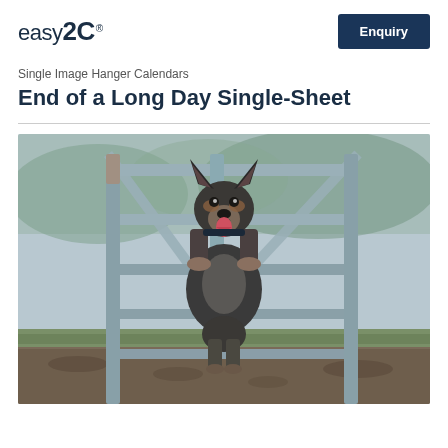easy2C
Enquiry
Single Image Hanger Calendars
End of a Long Day Single-Sheet
[Figure (photo): An Australian Cattle Dog (Blue Heeler) standing upright with front paws resting on a weathered wooden farm gate, looking through the gate rails with tongue out, in an outdoor rural setting.]